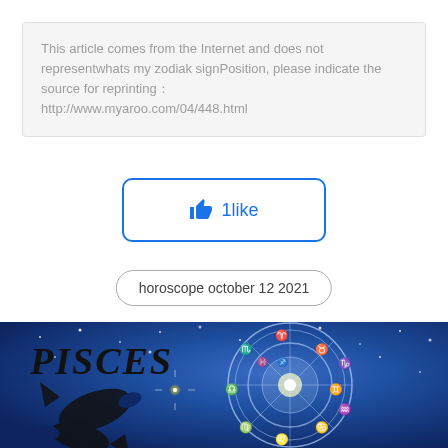This article comes from the Internet and does not representwhats my zodiak signPosition, please indicate the source for reprinting： http://www.myaroo.com/04/448.html
[Figure (other): Like button with thumbs up icon showing '1like' in blue with rounded rectangle border]
horoscope october 12 2021
[Figure (illustration): Pisces horoscope illustration showing PISCES text with fish silhouette on left and zodiac wheel with astrological symbols on right, all on a blue starry night sky background]